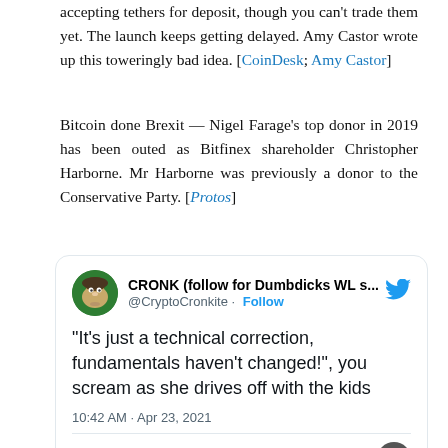accepting tethers for deposit, though you can't trade them yet. The launch keeps getting delayed. Amy Castor wrote up this toweringly bad idea. [CoinDesk; Amy Castor]
Bitcoin done Brexit — Nigel Farage's top donor in 2019 has been outed as Bitfinex shareholder Christopher Harborne. Mr Harborne was previously a donor to the Conservative Party. [Protos]
[Figure (screenshot): Embedded tweet from @CryptoCronkite (CRONK follow for Dumbdicks WL s...) with Twitter bird logo. Tweet text: "It's just a technical correction, fundamentals haven't changed!", you scream as she drives off with the kids. Time: 10:42 AM · Apr 23, 2021. Actions: 536 likes, Reply, Copy link. Moon icon bottom right.]